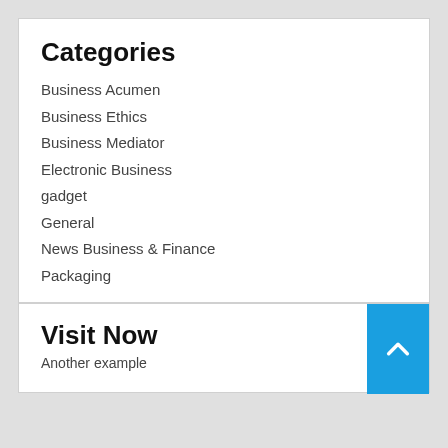Categories
Business Acumen
Business Ethics
Business Mediator
Electronic Business
gadget
General
News Business & Finance
Packaging
Visit Now
Another example